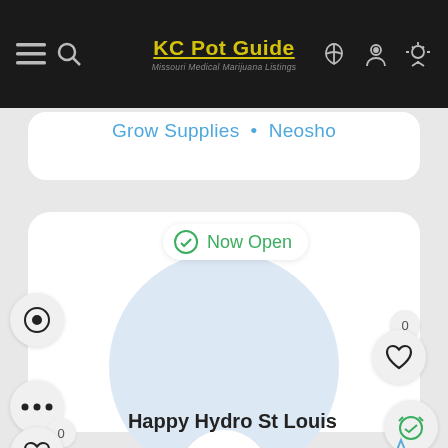KC Pot Guide | Missouri Medical Marijuana Listings
Grow Supplies • Neosho
Now Open
Happy Hydro St Louis